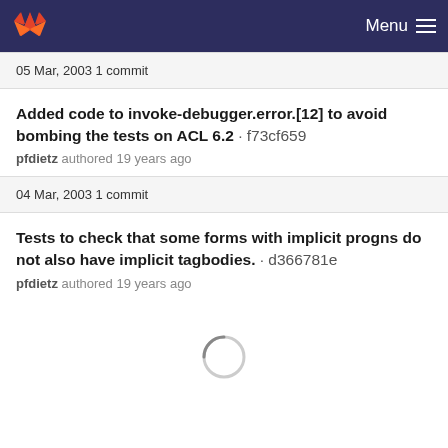Menu
05 Mar, 2003 1 commit
Added code to invoke-debugger.error.[12] to avoid bombing the tests on ACL 6.2 · f73cf659
pfdietz authored 19 years ago
04 Mar, 2003 1 commit
Tests to check that some forms with implicit progns do not also have implicit tagbodies. · d366781e
pfdietz authored 19 years ago
[Figure (other): Loading spinner circle indicator]